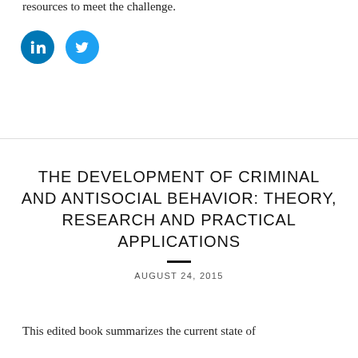resources to meet the challenge.
[Figure (illustration): LinkedIn and Twitter social media icon buttons (circular, blue)]
THE DEVELOPMENT OF CRIMINAL AND ANTISOCIAL BEHAVIOR: THEORY, RESEARCH AND PRACTICAL APPLICATIONS
AUGUST 24, 2015
This edited book summarizes the current state of